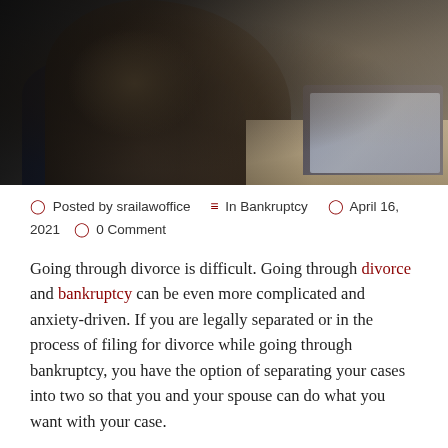[Figure (photo): Person in dark suit jacket working at a desk, possibly writing or using a device, with a laptop visible in the background on a wooden desk surface.]
Posted by srailawoffice  In Bankruptcy  April 16, 2021  0 Comment
Going through divorce is difficult. Going through divorce and bankruptcy can be even more complicated and anxiety-driven. If you are legally separated or in the process of filing for divorce while going through bankruptcy, you have the option of separating your cases into two so that you and your spouse can do what you want with your case.
It is also best for each of you to consult with an attorney independently about how to proceed in order to avoid a conflict of interest. An experienced Central Valley